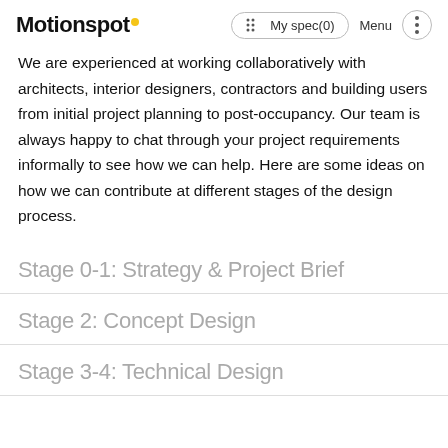Motionspot · My spec(0) · Menu
We are experienced at working collaboratively with architects, interior designers, contractors and building users from initial project planning to post-occupancy. Our team is always happy to chat through your project requirements informally to see how we can help. Here are some ideas on how we can contribute at different stages of the design process.
Stage 0-1: Strategy & Project Brief
Stage 2: Concept Design
Stage 3-4: Technical Design